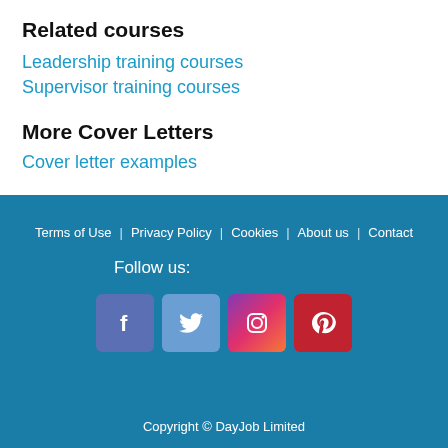Related courses
Leadership training courses
Supervisor training courses
More Cover Letters
Cover letter examples
Terms of Use | Privacy Policy | Cookies | About us | Contact
Follow us:
[Facebook] [Twitter] [Instagram] [Pinterest]
Copyright © DayJob Limited